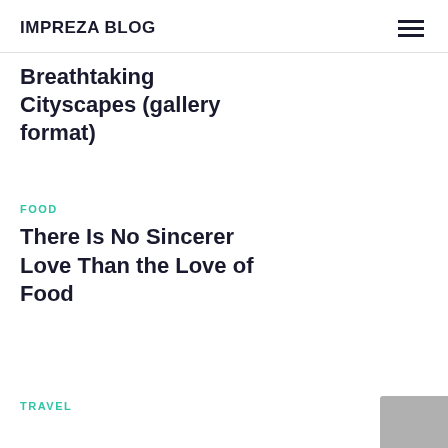IMPREZA BLOG
Breathtaking Cityscapes (gallery format)
FOOD
There Is No Sincerer Love Than the Love of Food
TRAVEL